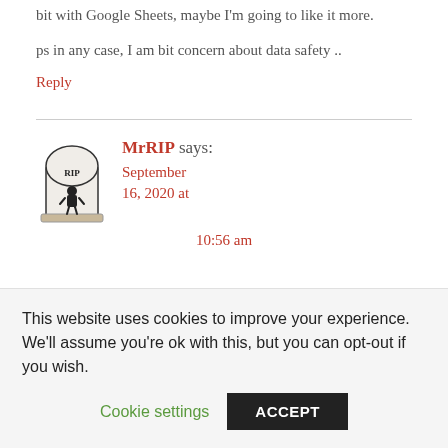bit with Google Sheets, maybe I'm going to like it more.
ps in any case, I am bit concern about data safety ..
Reply
[Figure (illustration): RIP gravestone avatar icon with a person sitting at the base]
MrRIP says: September 16, 2020 at 10:56 am
This website uses cookies to improve your experience. We'll assume you're ok with this, but you can opt-out if you wish.
Cookie settings   ACCEPT